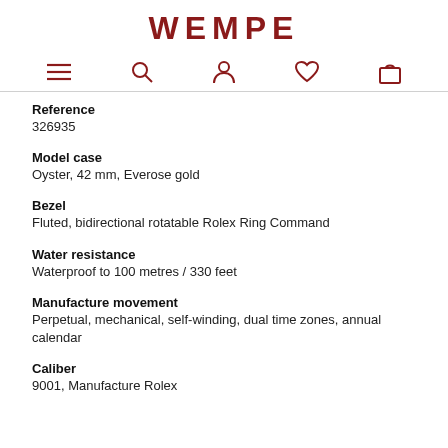WEMPE
Reference
326935
Model case
Oyster, 42 mm, Everose gold
Bezel
Fluted, bidirectional rotatable Rolex Ring Command
Water resistance
Waterproof to 100 metres / 330 feet
Manufacture movement
Perpetual, mechanical, self-winding, dual time zones, annual calendar
Caliber
9001, Manufacture Rolex